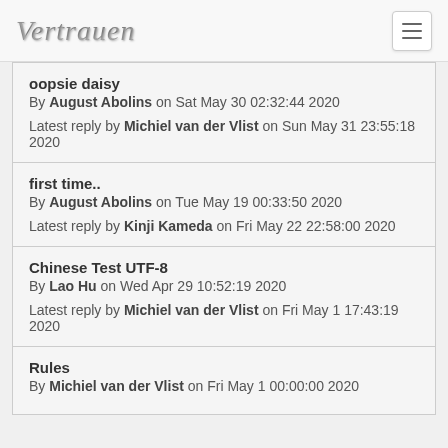Vertrauen
oopsie daisy
By August Abolins on Sat May 30 02:32:44 2020
Latest reply by Michiel van der Vlist on Sun May 31 23:55:18 2020
first time..
By August Abolins on Tue May 19 00:33:50 2020
Latest reply by Kinji Kameda on Fri May 22 22:58:00 2020
Chinese Test UTF-8
By Lao Hu on Wed Apr 29 10:52:19 2020
Latest reply by Michiel van der Vlist on Fri May 1 17:43:19 2020
Rules
By Michiel van der Vlist on Fri May 1 00:00:00 2020